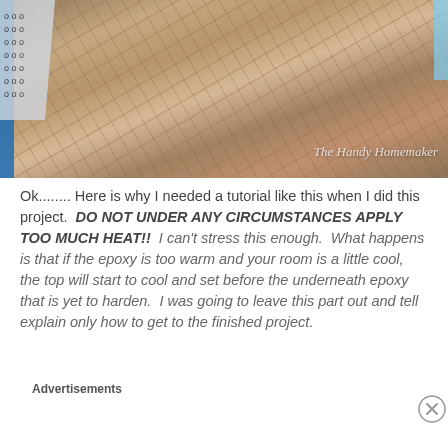[Figure (photo): Photo of herringbone tile floor with blue painter's tape on the edges, a person's hand/cloth visible on the left. Watermark reads 'The Handy Homemaker'.]
Ok........ Here is why I needed a tutorial like this when I did this project.  DO NOT UNDER ANY CIRCUMSTANCES APPLY TOO MUCH HEAT!!  I can't stress this enough.  What happens is that if the epoxy is too warm and your room is a little cool,  the top will start to cool and set before the underneath epoxy that is yet to harden.  I was going to leave this part out and tell explain only how to get to the finished project.
Advertisements
[Figure (screenshot): Seamless food delivery advertisement banner — pizza image on left, red 'seamless' button in center, white-bordered 'ORDER NOW' button on right, dark background.]